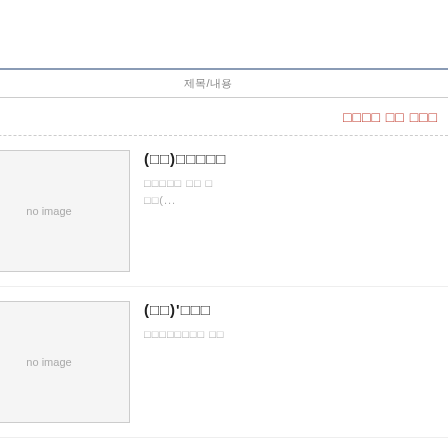| 번호 | 제목/내용 |
| --- | --- |
| 공지 | □□□□ □□ □□□ |
| 74 | (□□)□□□□□
□□□□□ □□ □
□□(... |
| 73 | (□□)'□□□
□□□□□□□□ □□ |
| 72 | (□□)"□□ |